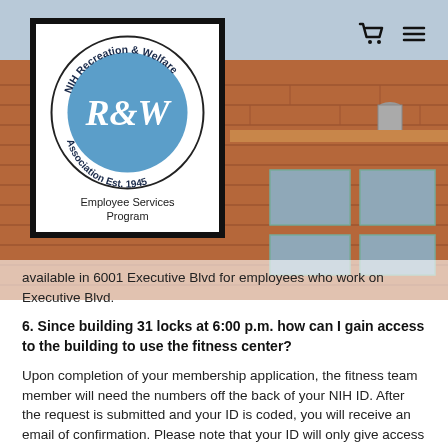[Figure (photo): NIH Recreation & Welfare Association logo sign mounted on a brick building exterior. The logo is a circular blue badge with 'R&W' in large white letters, surrounded by text reading 'NIH Recreation & Welfare Association Est. 1945' with 'Employee Services Program' below, all inside a white-background black-bordered square sign.]
available in 6001 Executive Blvd for employees who work on Executive Blvd.
6. Since building 31 locks at 6:00 p.m. how can I gain access to the building to use the fitness center?
Upon completion of your membership application, the fitness team member will need the numbers off the back of your NIH ID. After the request is submitted and your ID is coded, you will receive an email of confirmation. Please note that your ID will only give access to Bldg. 31